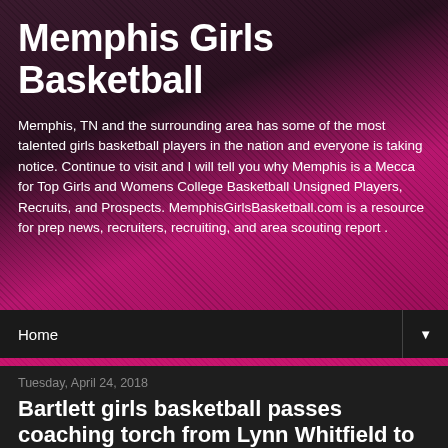Memphis Girls Basketball
Memphis, TN and the surrounding area has some of the most talented girls basketball players in the nation and everyone is taking notice. Continue to visit and I will tell you why Memphis is a Mecca for Top Girls and Womens College Basketball Unsigned Players, Recruits, and Prospects. MemphisGirlsBasketball.com is a resource for prep news, recruiters, recruiting, and area scouting report .
Home
Tuesday, April 24, 2018
Bartlett girls basketball passes coaching torch from Lynn Whitfield to Jasmine James